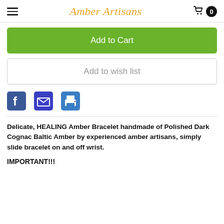Amber Artisans
Add to Cart
Add to wish list
[Figure (infographic): Social sharing icons: Facebook (blue square with f), Email (dark blue envelope), Print (blue printer)]
Delicate, HEALING Amber Bracelet handmade of Polished Dark Cognac Baltic Amber by experienced amber artisans, simply slide bracelet on and off wrist.
IMPORTANT!!!